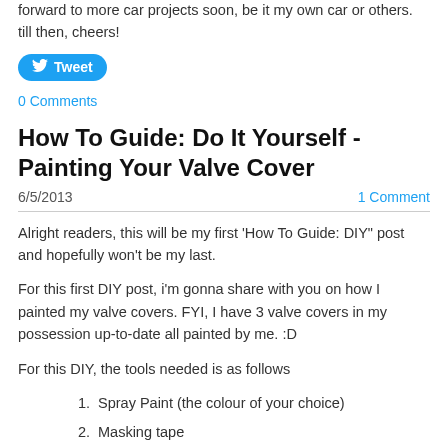forward to more car projects soon, be it my own car or others. till then, cheers!
[Figure (other): Tweet button (Twitter share button, blue rounded rectangle)]
0 Comments
How To Guide: Do It Yourself - Painting Your Valve Cover
6/5/2013
1 Comment
Alright readers, this will be my first 'How To Guide: DIY" post and hopefully won't be my last.
For this first DIY post, i'm gonna share with you on how I painted my valve covers. FYI, I have 3 valve covers in my possession up-to-date all painted by me. :D
For this DIY, the tools needed is as follows
1. Spray Paint (the colour of your choice)
2. Masking tape